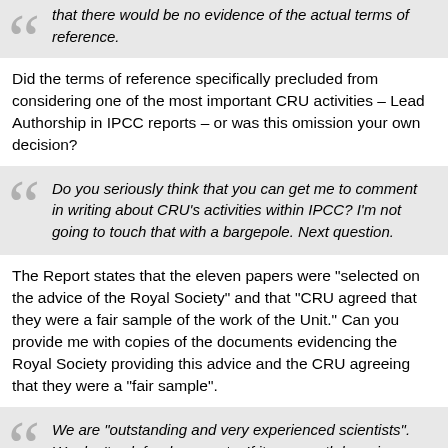that there would be no evidence of the actual terms of reference.
Did the terms of reference specifically precluded from considering one of the most important CRU activities – Lead Authorship in IPCC reports – or was this omission your own decision?
Do you seriously think that you can get me to comment in writing about CRU’s activities within IPCC? I’m not going to touch that with a bargepole. Next question.
The Report states that the eleven papers were “selected on the advice of the Royal Society” and that “CRU agreed that they were a fair sample of the work of the Unit.” Can you provide me with copies of the documents evidencing the Royal Society providing this advice and the CRU agreeing that they were a “fair sample”.
We are “outstanding and very experienced scientists”. We don’t ask for documents. If it was worth knowing, we already knew it.
Did you carry out any due diligence of your own to verify that the articles were in fact a “fair sample”?
Due diligence??? Puh-leeze. We are “outstanding and very experienced scientists”.